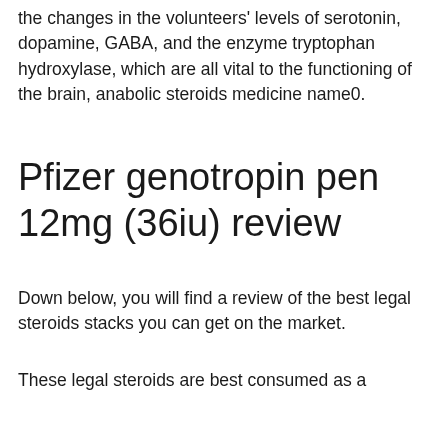the changes in the volunteers' levels of serotonin, dopamine, GABA, and the enzyme tryptophan hydroxylase, which are all vital to the functioning of the brain, anabolic steroids medicine name0.
Pfizer genotropin pen 12mg (36iu) review
Down below, you will find a review of the best legal steroids stacks you can get on the market.
These legal steroids are best consumed as a supplement for performance athletes, tren hex ester. If you are interested in buying legal sports drugs, I recommend you take a look at any of the legal steroids listed below.
Steroids are often prescribed to patients who